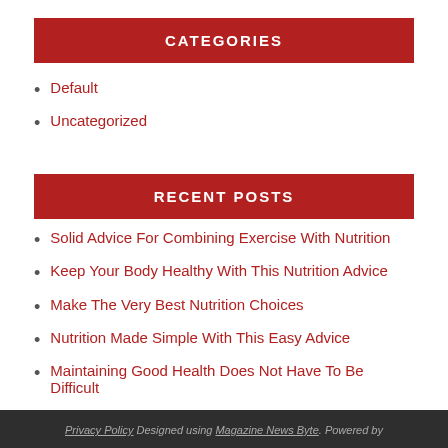CATEGORIES
Default
Uncategorized
RECENT POSTS
Solid Advice For Combining Exercise With Nutrition
Keep Your Body Healthy With This Nutrition Advice
Make The Very Best Nutrition Choices
Nutrition Made Simple With This Easy Advice
Maintaining Good Health Does Not Have To Be Difficult
Privacy Policy Designed using Magazine News Byte. Powered by